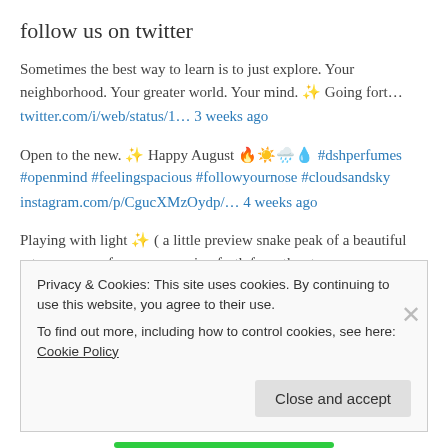follow us on twitter
Sometimes the best way to learn is to just explore. Your neighborhood. Your greater world. Your mind. ✨ Going fort…
twitter.com/i/web/status/1… 3 weeks ago
Open to the new. ✨ Happy August 🔥☀️🌧️💧 #dshperfumes #openmind #feelingspacious #followyournose #cloudsandsky
instagram.com/p/CgucXMzOydp/… 4 weeks ago
Playing with light ✨ ( a little preview snake peak of a beautiful retro-nouveau fragrance coming forth from the stu…
twitter.com/i/web/status/1… 4 weeks ago
Privacy & Cookies: This site uses cookies. By continuing to use this website, you agree to their use. To find out more, including how to control cookies, see here: Cookie Policy
Close and accept